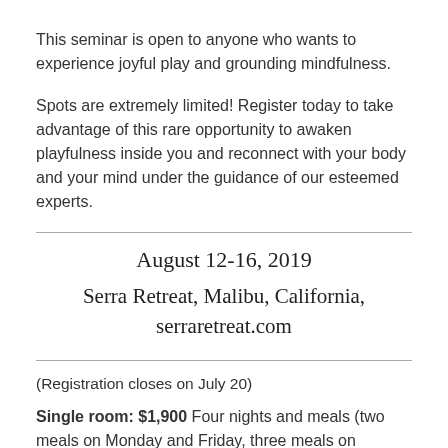This seminar is open to anyone who wants to experience joyful play and grounding mindfulness.
Spots are extremely limited! Register today to take advantage of this rare opportunity to awaken playfulness inside you and reconnect with your body and your mind under the guidance of our esteemed experts.
August 12-16, 2019
Serra Retreat, Malibu, California, serraretreat.com
(Registration closes on July 20)
Single room: $1,900 Four nights and meals (two meals on Monday and Friday, three meals on Tuesday, Thursday)